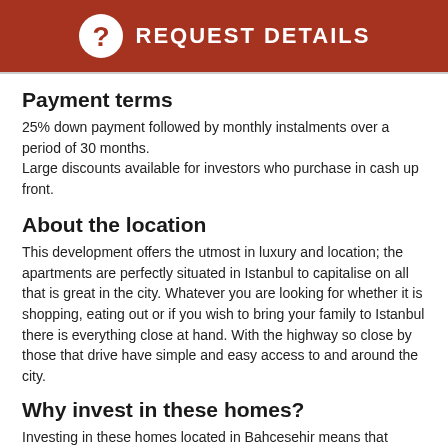REQUEST DETAILS
Payment terms
25% down payment followed by monthly instalments over a period of 30 months.
Large discounts available for investors who purchase in cash up front.
About the location
This development offers the utmost in luxury and location; the apartments are perfectly situated in Istanbul to capitalise on all that is great in the city. Whatever you are looking for whether it is shopping, eating out or if you wish to bring your family to Istanbul there is everything close at hand. With the highway so close by those that drive have simple and easy access to and around the city.
Why invest in these homes?
Investing in these homes located in Bahcesehir means that you're not only investing in a great home which you are able to enjoy